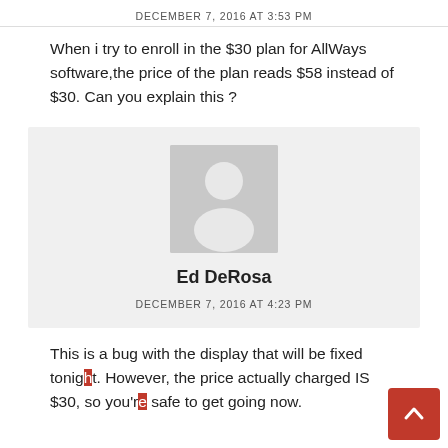DECEMBER 7, 2016 AT 3:53 PM
When i try to enroll in the $30 plan for AllWays software,the price of the plan reads $58 instead of $30. Can you explain this ?
[Figure (illustration): Default user avatar placeholder image - grey silhouette of a person]
Ed DeRosa
DECEMBER 7, 2016 AT 4:23 PM
This is a bug with the display that will be fixed tonight. However, the price actually charged IS $30, so you're safe to get going now.